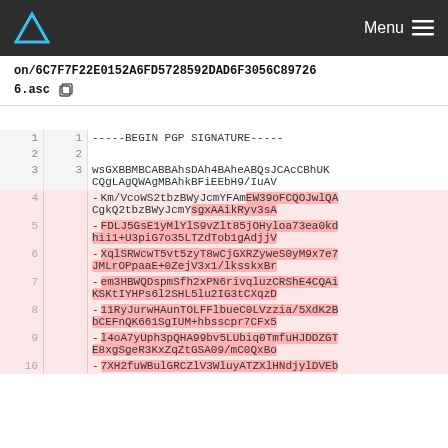Menu
on/6C7F7F22E0152A6FD5728592DAD6F3056C89726
6.asc
-----BEGIN PGP SIGNATURE-----

wsGXBBMBCABBAhsDAh4BAheABQsJCACCBhUKCQgLAgQWAgMBAhkBFiEEbH9/IuAVCQgLAgQWAgMBAhkBFiEEbH9/IuAV
Km/VcoWS2tbzBWyJcmYFAmEW39oFCQOJwlQACgkQ2tbzBWyJcmYsgxAAikRyv3sA
FDLJ5GsE1yMlYlS9vZlt85jOHyloa73ea0kdhii1+U3piG7o35LTZdTob1gAdjjV
XqlSRWcwT5vt5zyT8wCjGXRZyweS0yM9x7e7JMLrOPpaaE+0ZejV3x1/lksskxBr
em3HBWQDspmSfh2xPN6rivqluzCRShE4CQAiKSKtIYHPs6l2SHL5lu2IG3tCXqzD
11RyJurwHAunTOLFFlbueC0LVzzia/5XdK2BbCEFnQK661SgIUM+hbsscpr7CFx5
l4oA7yUph3pQHA99bv5LUbiq0TmfuHJDDZGTE8xgSgeR3KxZqZtGSA09/mC0QxBo
7XH2fuWBulGRCZlV3WluyATZXlHNdjylDVEb